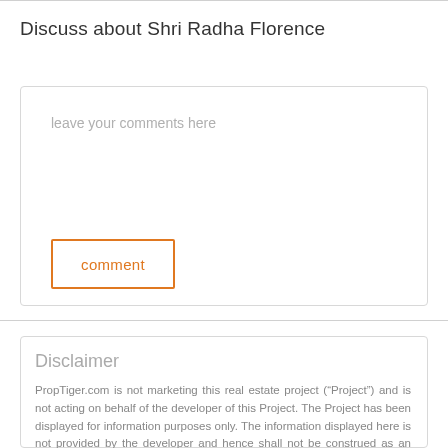Discuss about Shri Radha Florence
leave your comments here
comment
Disclaimer
PropTiger.com is not marketing this real estate project (“Project”) and is not acting on behalf of the developer of this Project. The Project has been displayed for information purposes only. The information displayed here is not provided by the developer and hence shall not be construed as an offer for sale or an advertisement for sale by